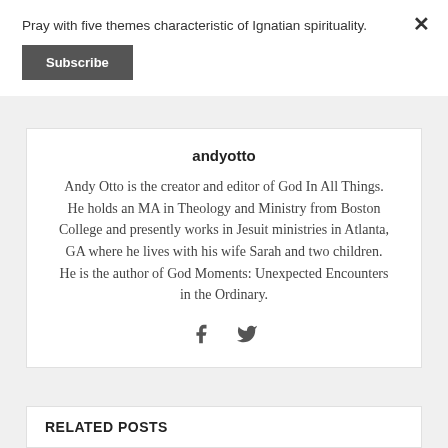Pray with five themes characteristic of Ignatian spirituality.
Subscribe
andyotto
Andy Otto is the creator and editor of God In All Things. He holds an MA in Theology and Ministry from Boston College and presently works in Jesuit ministries in Atlanta, GA where he lives with his wife Sarah and two children. He is the author of God Moments: Unexpected Encounters in the Ordinary.
RELATED POSTS